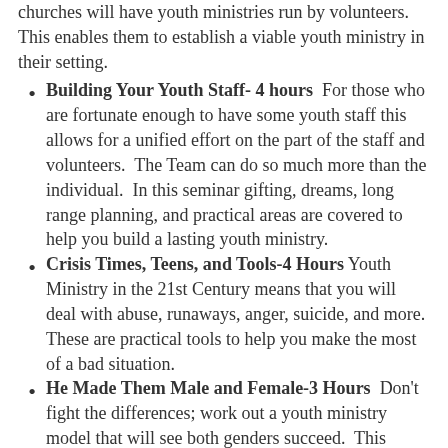churches will have youth ministries run by volunteers.  This enables them to establish a viable youth ministry in their setting.
Building Your Youth Staff- 4 hours  For those who are fortunate enough to have some youth staff this allows for a unified effort on the part of the staff and volunteers.  The Team can do so much more than the individual.  In this seminar gifting, dreams, long range planning, and practical areas are covered to help you build a lasting youth ministry.
Crisis Times, Teens, and Tools-4 Hours  Youth Ministry in the 21st Century means that you will deal with abuse, runaways, anger, suicide, and more.  These are practical tools to help you make the most of a bad situation.
He Made Them Male and Female-3 Hours  Don't fight the differences; work out a youth ministry model that will see both genders succeed.  This includes a planning matrix.